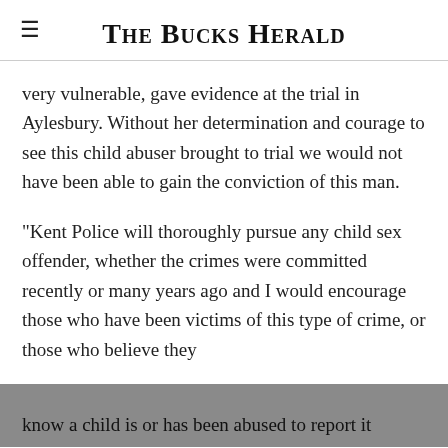The Bucks Herald
very vulnerable, gave evidence at the trial in Aylesbury. Without her determination and courage to see this child abuser brought to trial we would not have been able to gain the conviction of this man.
“Kent Police will thoroughly pursue any child sex offender, whether the crimes were committed recently or many years ago and I would encourage those who have been victims of this type of crime, or those who believe they know a child is or has been abused to report it